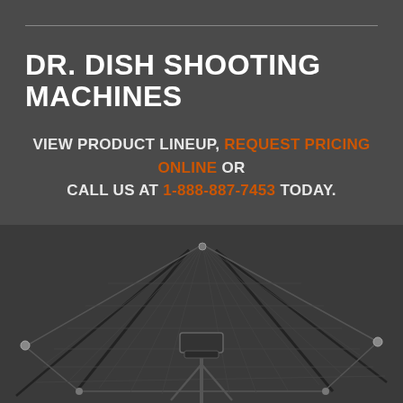DR. DISH SHOOTING MACHINES
VIEW PRODUCT LINEUP, REQUEST PRICING ONLINE OR CALL US AT 1-888-887-7453 TODAY.
[Figure (photo): Basketball shooting machine (Dr. Dish) with a large net catch system mounted on poles, viewed from below at an angle, on dark background.]